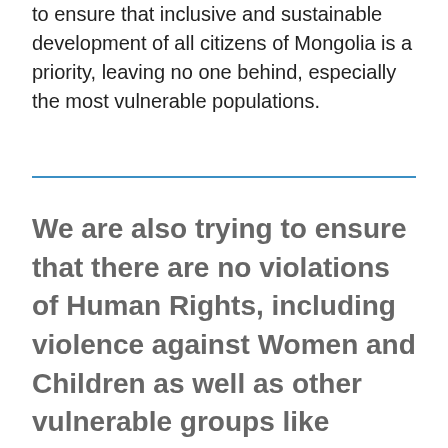to ensure that inclusive and sustainable development of all citizens of Mongolia is a priority, leaving no one behind, especially the most vulnerable populations.
We are also trying to ensure that there are no violations of Human Rights, including violence against Women and Children as well as other vulnerable groups like elderly and persons with disabilities.